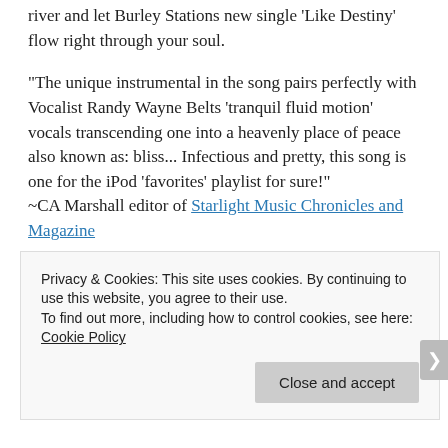river and let Burley Stations new single 'Like Destiny' flow right through your soul.
“The unique instrumental in the song pairs perfectly with Vocalist Randy Wayne Belts ‘tranquil fluid motion’ vocals transcending one into a heavenly place of peace also known as: bliss... Infectious and pretty, this song is one for the iPod ‘favorites’ playlist for sure!”
~CA Marshall editor of Starlight Music Chronicles and Magazine
(Click here for a sneak audio from the track “Like Destiny”)
Privacy & Cookies: This site uses cookies. By continuing to use this website, you agree to their use.
To find out more, including how to control cookies, see here: Cookie Policy